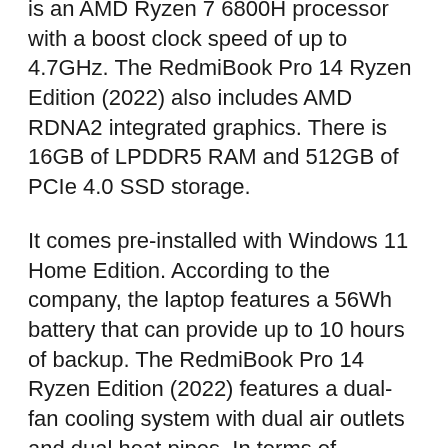is an AMD Ryzen 7 6800H processor with a boost clock speed of up to 4.7GHz. The RedmiBook Pro 14 Ryzen Edition (2022) also includes AMD RDNA2 integrated graphics. There is 16GB of LPDDR5 RAM and 512GB of PCIe 4.0 SSD storage.
It comes pre-installed with Windows 11 Home Edition. According to the company, the laptop features a 56Wh battery that can provide up to 10 hours of backup. The RedmiBook Pro 14 Ryzen Edition (2022) features a dual-fan cooling system with dual air outlets and dual heat pipes. In terms of connectivity, this laptop comes with Wi-Fi 6, two USB Type-C 3.1 Gen 2 ports, a USB Type-A 3.2 Gen 1 port, an HDMI 2.0 port, and a 3.5mm headphone/ mic combo jack.